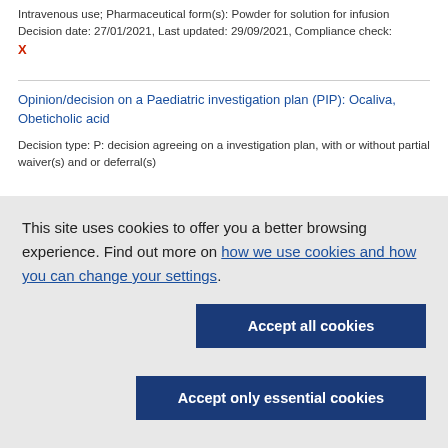Intravenous use; Pharmaceutical form(s): Powder for solution for infusion Decision date: 27/01/2021, Last updated: 29/09/2021, Compliance check: X
Opinion/decision on a Paediatric investigation plan (PIP): Ocaliva, Obeticholic acid
Decision type: P: decision agreeing on a investigation plan, with or without partial waiver(s) and or deferral(s)
This site uses cookies to offer you a better browsing experience. Find out more on how we use cookies and how you can change your settings.